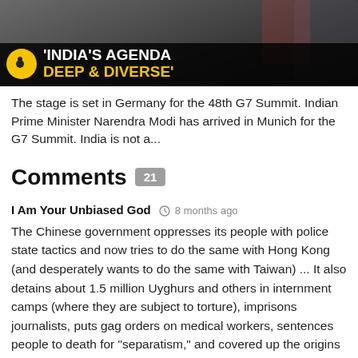[Figure (screenshot): News broadcast screenshot showing text overlay: 'INDIA'S AGENDA DEEP & DIVERSE' with a yellow circular logo on a dark background]
The stage is set in Germany for the 48th G7 Summit. Indian Prime Minister Narendra Modi has arrived in Munich for the G7 Summit. India is not a...
Comments 21
I Am Your Unbiased God  8 months ago
The Chinese government oppresses its people with police state tactics and now tries to do the same with Hong Kong (and desperately wants to do the same with Taiwan) ... It also detains about 1.5 million Uyghurs and others in internment camps (where they are subject to torture), imprisons journalists, puts gag orders on medical workers, sentences people to death for "separatism," and covered up the origins of Covid-19 (destroying records, hiding data, and lying about the